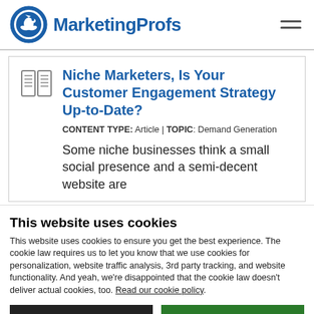MarketingProfs
Niche Marketers, Is Your Customer Engagement Strategy Up-to-Date?
CONTENT TYPE: Article | TOPIC: Demand Generation
Some niche businesses think a small social presence and a semi-decent website are
This website uses cookies
This website uses cookies to ensure you get the best experience. The cookie law requires us to let you know that we use cookies for personalization, website traffic analysis, 3rd party tracking, and website functionality. And yeah, we're disappointed that the cookie law doesn't deliver actual cookies, too. Read our cookie policy.
Use necessary cookies only
Allow all cookies
Show details